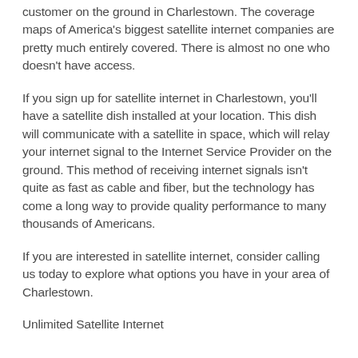customer on the ground in Charlestown. The coverage maps of America's biggest satellite internet companies are pretty much entirely covered. There is almost no one who doesn't have access.
If you sign up for satellite internet in Charlestown, you'll have a satellite dish installed at your location. This dish will communicate with a satellite in space, which will relay your internet signal to the Internet Service Provider on the ground. This method of receiving internet signals isn't quite as fast as cable and fiber, but the technology has come a long way to provide quality performance to many thousands of Americans.
If you are interested in satellite internet, consider calling us today to explore what options you have in your area of Charlestown.
Unlimited Satellite Internet